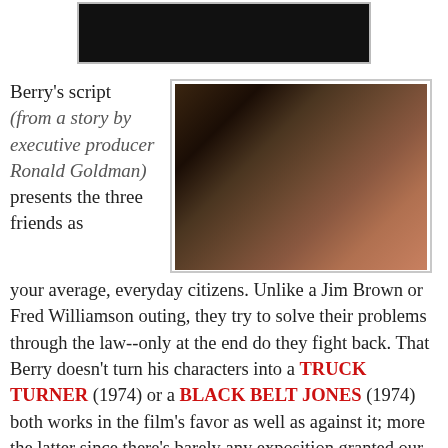[Figure (photo): Film still showing people in a dark indoor scene, cropped at top of page]
Berry's script (from a story by executive producer Ronald Goldman) presents the three friends as your average, everyday citizens. Unlike a Jim Brown or Fred Williamson outing, they try to solve their problems through the law--only at the end do they fight back. That Berry doesn't turn his characters into a TRUCK TURNER (1974) or a BLACK BELT JONES (1974) both works in the film's favor as well as against it; more the latter since there's barely any exposition granted our grounded-in-reality good guys
[Figure (photo): Film still showing a group of people around a table indoors with drinks, including one person standing in background]